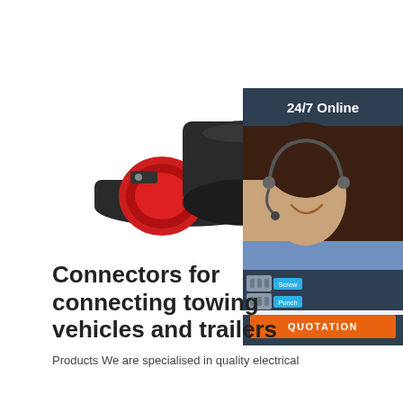[Figure (photo): Black electrical connector for towing vehicles — a circular socket with red reflector disc and a separate 7-pin plug head with metal pins]
[Figure (infographic): 24/7 Online chat widget showing a smiling female customer service agent with headset, icons for screw and punch type connections, 'Click here for free chat!' text, and an orange QUOTATION button]
Connectors for connecting towing vehicles and trailers
Products We are specialised in quality electrical